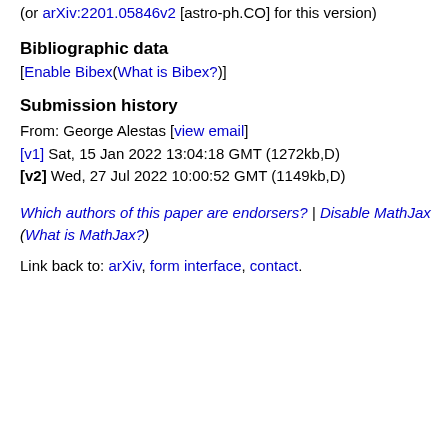(or arXiv:2201.05846v2 [astro-ph.CO] for this version)
Bibliographic data
[Enable Bibex(What is Bibex?)]
Submission history
From: George Alestas [view email]
[v1] Sat, 15 Jan 2022 13:04:18 GMT (1272kb,D)
[v2] Wed, 27 Jul 2022 10:00:52 GMT (1149kb,D)
Which authors of this paper are endorsers? | Disable MathJax (What is MathJax?)
Link back to: arXiv, form interface, contact.